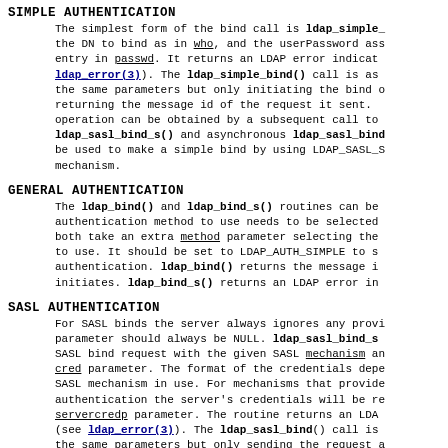SIMPLE AUTHENTICATION
The simplest form of the bind call is ldap_simple_bind_s(). It takes the DN to bind as in who, and the userPassword associated with that entry in passwd. It returns an LDAP error indication (see ldap_error(3)). The ldap_simple_bind() call is asynchronous, taking the same parameters but only initiating the bind operation and returning the message id of the request it sent. The result of the operation can be obtained by a subsequent call to ldap_result(3). The ldap_sasl_bind_s() and asynchronous ldap_sasl_bind() routines can also be used to make a simple bind by using LDAP_SASL_SIMPLE as the mechanism.
GENERAL AUTHENTICATION
The ldap_bind() and ldap_bind_s() routines can be used when the authentication method to use needs to be selected at runtime. They both take an extra method parameter selecting the authentication method to use. It should be set to LDAP_AUTH_SIMPLE to select simple authentication. ldap_bind() returns the message id of the request it initiates. ldap_bind_s() returns an LDAP error indication.
SASL AUTHENTICATION
For SASL binds the server always ignores any provided DN so the dn parameter should always be NULL. ldap_sasl_bind_s() will send a SASL bind request with the given SASL mechanism and credentials in the cred parameter. The format of the credentials depends on the SASL mechanism in use. For mechanisms that provide mutual authentication the server's credentials will be returned in the servercredp parameter. The routine returns an LDAP error indication (see ldap_error(3)). The ldap_sasl_bind() call is asynchronous, taking the same parameters but only sending the request and